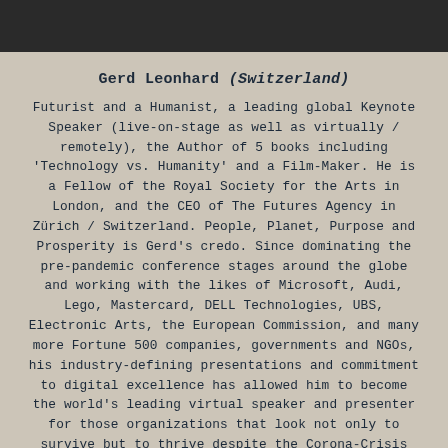[Figure (photo): Dark photo strip at top of page showing partial silhouette of a person]
Gerd Leonhard (Switzerland)
Futurist and a Humanist, a leading global Keynote Speaker (live-on-stage as well as virtually / remotely), the Author of 5 books including 'Technology vs. Humanity' and a Film-Maker. He is a Fellow of the Royal Society for the Arts in London, and the CEO of The Futures Agency in Zürich / Switzerland. People, Planet, Purpose and Prosperity is Gerd's credo. Since dominating the pre-pandemic conference stages around the globe and working with the likes of Microsoft, Audi, Lego, Mastercard, DELL Technologies, UBS, Electronic Arts, the European Commission, and many more Fortune 500 companies, governments and NGOs, his industry-defining presentations and commitment to digital excellence has allowed him to become the world's leading virtual speaker and presenter for those organizations that look not only to survive but to thrive despite the Corona-Crisis and beyond.